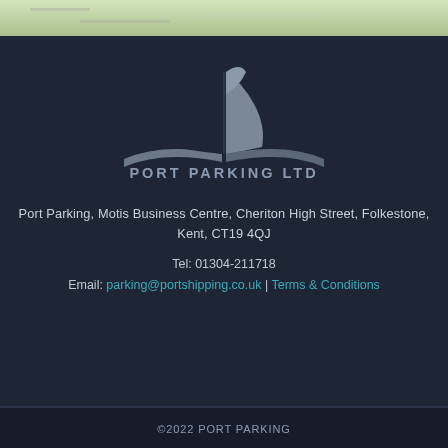[Figure (map): Top portion of a map showing roads and green areas]
[Figure (logo): Port Parking Ltd logo: stylized ship bow shape in grey with text PORT PARKING LTD below]
Port Parking, Motis Business Centre, Cheriton High Street, Folkestone, Kent, CT19 4QJ
Tel: 01304-211718
Email: parking@portshipping.co.uk | Terms & Conditions
©2022 PORT PARKING